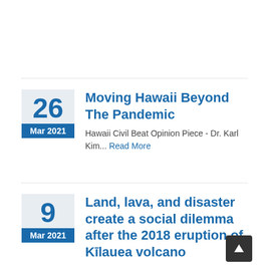Moving Hawaii Beyond The Pandemic
Hawaii Civil Beat Opinion Piece - Dr. Karl Kim... Read More
Land, lava, and disaster create a social dilemma after the 2018 eruption of Kīlauea volcano
If you have not read our article in Nature Communications, here it is... Read More